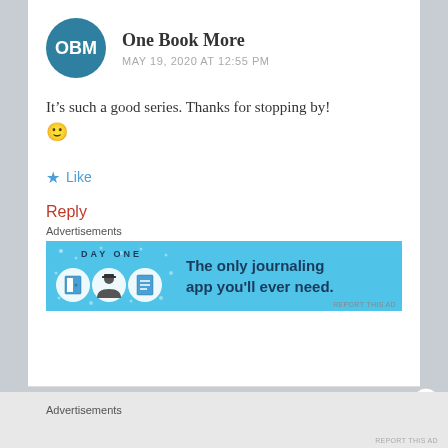[Figure (logo): Circular teal avatar with white text OBM]
One Book More
MAY 19, 2020 AT 12:55 PM
It’s such a good series. Thanks for stopping by! 🙂
Like
Reply
Advertisements
[Figure (screenshot): Day One app advertisement banner: blue background with three circular icons (door, person, document) and text 'The only journaling app you'll ever need.']
Advertisements